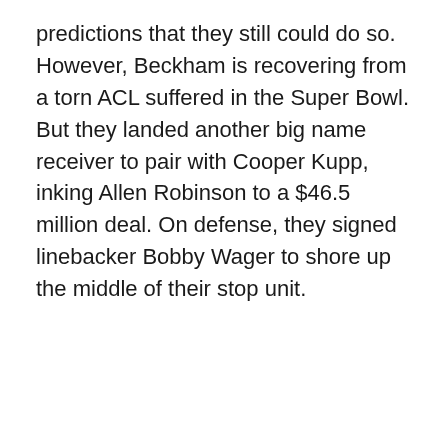predictions that they still could do so. However, Beckham is recovering from a torn ACL suffered in the Super Bowl. But they landed another big name receiver to pair with Cooper Kupp, inking Allen Robinson to a $46.5 million deal. On defense, they signed linebacker Bobby Wager to shore up the middle of their stop unit.